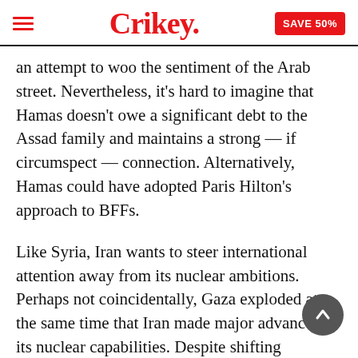Crikey. SAVE 50%
an attempt to woo the sentiment of the Arab street. Nevertheless, it’s hard to imagine that Hamas doesn’t owe a significant debt to the Assad family and maintains a strong — if circumspect — connection. Alternatively, Hamas could have adopted Paris Hilton’s approach to BFFs.
Like Syria, Iran wants to steer international attention away from its nuclear ambitions. Perhaps not coincidentally, Gaza exploded at the same time that Iran made major advances in its nuclear capabilities. Despite shifting loyalties to the new Sunni-based governments, Hamas remains beholden to Iran and Syria who have been some of their major weapons